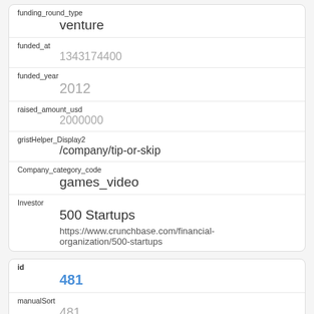funding_round_type
    venture
funded_at
    1343174400
funded_year
    2012
raised_amount_usd
    2000000
gristHelper_Display2
    /company/tip-or-skip
Company_category_code
    games_video
Investor
    500 Startups
    https://www.crunchbase.com/financial-organization/500-startups
id
    481
manualSort
    481